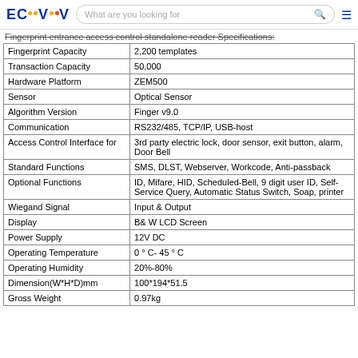ECVV — What are you looking for [search bar]
Fingerprint entrance access control standalone reader Specifications:
| Property | Value |
| --- | --- |
| Fingerprint Capacity | 2,200 templates |
| Transaction Capacity | 50,000 |
| Hardware Platform | ZEM500 |
| Sensor | Optical Sensor |
| Algorithm Version | Finger v9.0 |
| Communication | RS232/485, TCP/IP, USB-host |
| Access Control Interface for | 3rd party electric lock, door sensor, exit button, alarm, Door Bell |
| Standard Functions | SMS, DLST, Webserver, Workcode, Anti-passback |
| Optional Functions | ID, Mifare, HID, Scheduled-Bell, 9 digit user ID, Self-Service Query, Automatic Status Switch, Soap, printer |
| Wiegand Signal | Input & Output |
| Display | B& W LCD Screen |
| Power Supply | 12V DC |
| Operating Temperature | 0 ° C- 45 ° C |
| Operating Humidity | 20%-80% |
| Dimension(W*H*D)mm | 100*194*51.5 |
| Gross Weight | 0.97kg |